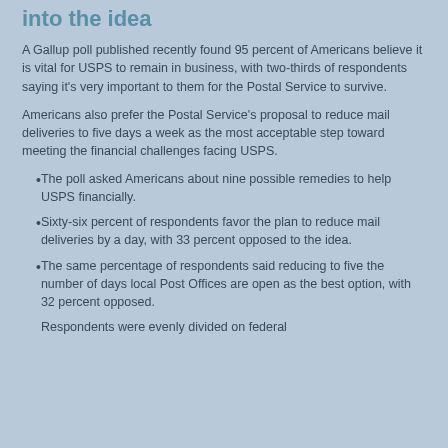into the idea
A Gallup poll published recently found 95 percent of Americans believe it is vital for USPS to remain in business, with two-thirds of respondents saying it’s very important to them for the Postal Service to survive.
Americans also prefer the Postal Service’s proposal to reduce mail deliveries to five days a week as the most acceptable step toward meeting the financial challenges facing USPS.
The poll asked Americans about nine possible remedies to help USPS financially.
Sixty-six percent of respondents favor the plan to reduce mail deliveries by a day, with 33 percent opposed to the idea.
The same percentage of respondents said reducing to five the number of days local Post Offices are open as the best option, with 32 percent opposed.
Respondents were evenly divided on federal